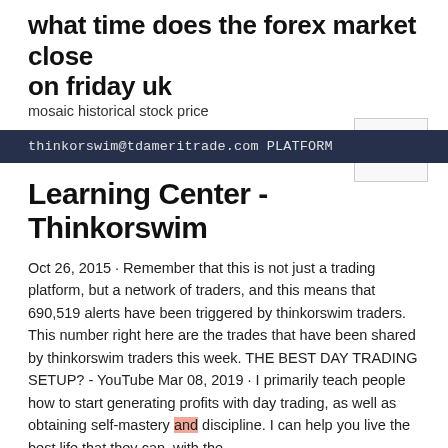what time does the forex market close on friday uk
mosaic historical stock price
[Figure (other): Navigation hamburger menu button (three horizontal lines) in a bordered box]
thinkorswim@tdameritrade.com PLATFORM
Learning Center - Thinkorswim
Oct 26, 2015 · Remember that this is not just a trading platform, but a network of traders, and this means that 690,519 alerts have been triggered by thinkorswim traders. This number right here are the trades that have been shared by thinkorswim traders this week. THE BEST DAY TRADING SETUP? - YouTube Mar 08, 2019 · I primarily teach people how to start generating profits with day trading, as well as obtaining self-mastery and discipline. I can help you live the best life that they can, with the